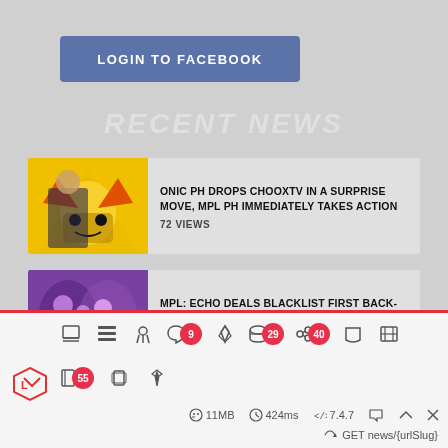LOGIN TO FACEBOOK
RECENT NEWS
[Figure (screenshot): News card thumbnail 1: yellow/red illustrated character (Pikachu-like) with man]
ONIC PH DROPS CHOOXTV IN A SURPRISE MOVE, MPL PH IMMEDIATELY TAKES ACTION
72 VIEWS
[Figure (screenshot): News card thumbnail 2: group of people, purple tones]
MPL: ECHO DEALS BLACKLIST FIRST BACK-TO-BACK LOSSES IN V33WISE ERA
115 VIEWS
9  29  40  55  | 11MB  424ms  7.4.7 | GET news/{urlSlug}